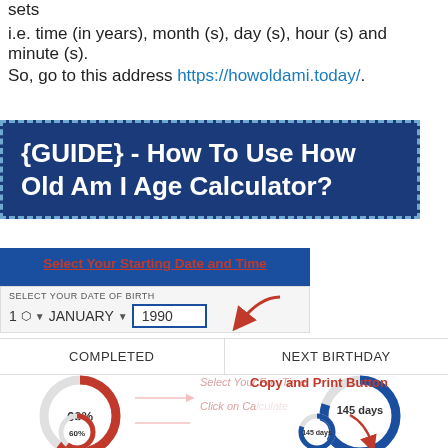sets
i.e. time (in years), month (s), day (s), hour (s) and minute (s).
So, go to this address https://howoldami.today/.
{GUIDE} - How To Use How Old Am I Age Calculator?
[Figure (screenshot): Screenshot of 'How Old Am I' age calculator interface showing date selector with 1 JANUARY 1990, COMPLETED and NEXT BIRTHDAY buttons, donut charts showing 60% and 145 days, annotations for Select Your Starting Date and Time, Select Your End Date and Time, Click on Calculate Button, and Copy and Print Button]